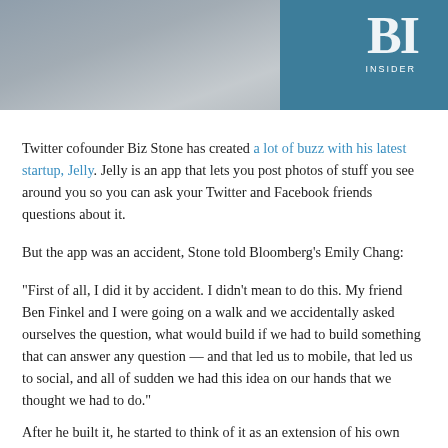[Figure (photo): Top banner image showing a tablet/phone with newspapers and Business Insider logo on teal background]
Twitter cofounder Biz Stone has created a lot of buzz with his latest startup, Jelly. Jelly is an app that lets you post photos of stuff you see around you so you can ask your Twitter and Facebook friends questions about it.
But the app was an accident, Stone told Bloomberg's Emily Chang:
“First of all, I did it by accident. I didn’t mean to do this. My friend Ben Finkel and I were going on a walk and we accidentally asked ourselves the question, what would build if we had to build something that can answer any question — and that led us to mobile, that led us to social, and all of sudden we had this idea on our hands that we thought we had to do.”
After he built it, he started to think of it as an extension of his own